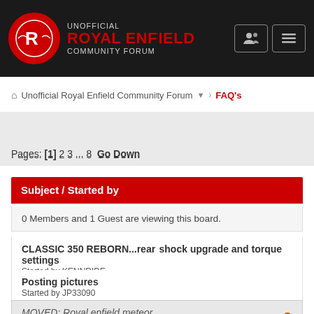[Figure (screenshot): Unofficial Royal Enfield Community Forum header with logo, site name, and navigation icons]
Unofficial Royal Enfield Community Forum > FAQ's
Pages: [1] 2 3 ... 8  Go Down
| Subject / Started by |
| --- |
| 0 Members and 1 Guest are viewing this board. |
| CLASSIC 350 REBORN...rear shock upgrade and torque settings
Started by KENNRIDE |
| Posting pictures
Started by JP33090 |
| MOVED: Royal enfield meteor
Started by Bilgemaster |
| Spell check
Started by zimmemr |